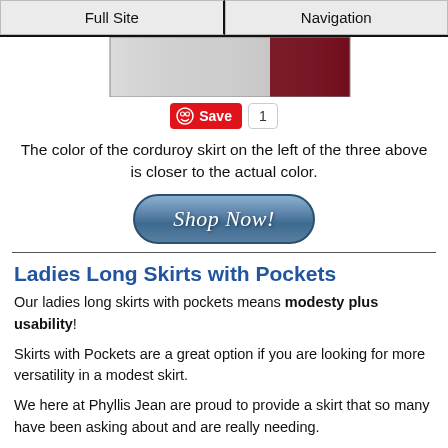Full Site | Navigation
[Figure (photo): Product image showing corduroy skirts in grey and dark red/maroon colors]
Save 1
The color of the corduroy skirt on the left of the three above is closer to the actual color.
[Figure (other): Shop Now! button]
Ladies Long Skirts with Pockets
Our ladies long skirts with pockets means modesty plus usability!
Skirts with Pockets are a great option if you are looking for more versatility in a modest skirt.
We here at Phyllis Jean are proud to provide a skirt that so many have been asking about and are really needing.
Please enjoy our selection of skirts, and we are sure that